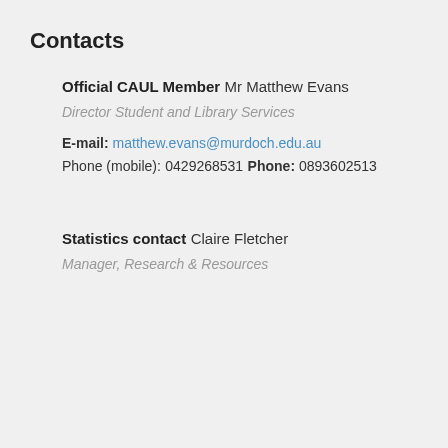Contacts
Official CAUL Member
Mr Matthew Evans
Director Student and Library Services
E-mail: matthew.evans@murdoch.edu.au
Phone (mobile):
0429268531
Phone: 0893602513
Statistics contact
Claire Fletcher
Manager, Research & Resources